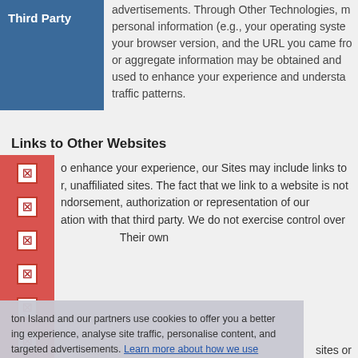| Third Party | advertisements. Through Other Technologies, personal information (e.g., your operating system, your browser version, and the URL you came from) or aggregate information may be obtained and used to enhance your experience and understand traffic patterns. |
Links to Other Websites
o enhance your experience, our Sites may include links to r, unaffiliated sites. The fact that we link to a website is not ndorsement, authorization or representation of our ation with that third party. We do not exercise control over tion Island and our partners use cookies to offer you a better ing experience, analyse site traffic, personalise content, and targeted advertisements. Learn more about how we use es and how you can control settings. If you continue to use this ou consent to our use of cookies.
Accept Cookies
sites or